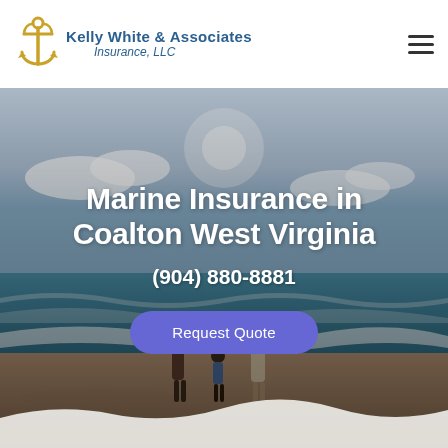[Figure (logo): Kelly White & Associates Insurance, LLC logo with anchor icon in gold]
Kelly White & Associates Insurance, LLC
[Figure (photo): Family of three walking on a beach with ocean waves, viewed from behind. Hero image with overlaid text for Marine Insurance in Coalton West Virginia.]
Marine Insurance in Coalton West Virginia
(904) 880-8881
Request Quote